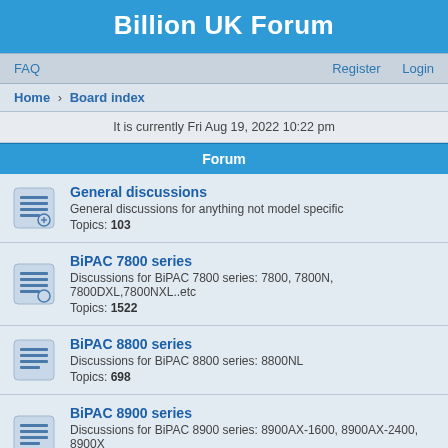Billion UK Forum
FAQ    Register    Login
Home › Board index
It is currently Fri Aug 19, 2022 10:22 pm
Forum
General discussions
General discussions for anything not model specific
Topics: 103
BiPAC 7800 series
Discussions for BiPAC 7800 series: 7800, 7800N, 7800DXL,7800NXL..etc
Topics: 1522
BiPAC 8800 series
Discussions for BiPAC 8800 series: 8800NL
Topics: 698
BiPAC 8900 series
Discussions for BiPAC 8900 series: 8900AX-1600, 8900AX-2400, 8900X
Topics: 298
BiPAC 7402 series
Discussion for BiPAC 7402 series: 7402, 7402G, 7402X, 7402GX, 7402NX..etc
Topics: 54